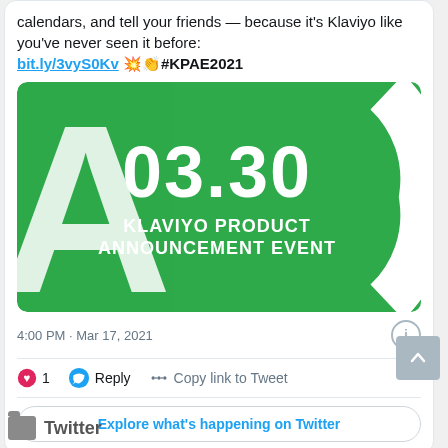calendars, and tell your friends — because it's Klaviyo like you've never seen it before: bit.ly/3vyS0Kv 💥👏 #KPAE2021
[Figure (other): Green promotional banner for Klaviyo Product Announcement Event showing '03.30 KLAVIYO PRODUCT ANNOUNCEMENT EVENT' text on green background with large white letters A and C visible]
4:00 PM · Mar 17, 2021
♥ 1   Reply   Copy link to Tweet
Explore what's happening on Twitter
Twitter